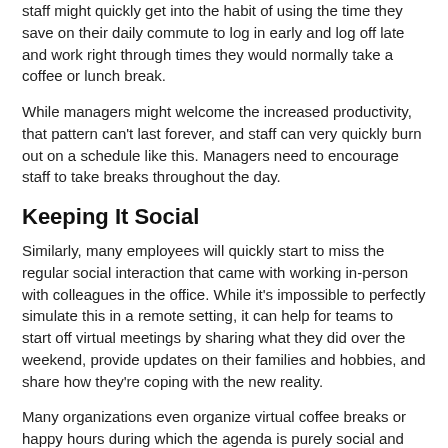staff might quickly get into the habit of using the time they save on their daily commute to log in early and log off late and work right through times they would normally take a coffee or lunch break.
While managers might welcome the increased productivity, that pattern can't last forever, and staff can very quickly burn out on a schedule like this. Managers need to encourage staff to take breaks throughout the day.
Keeping It Social
Similarly, many employees will quickly start to miss the regular social interaction that came with working in-person with colleagues in the office. While it's impossible to perfectly simulate this in a remote setting, it can help for teams to start off virtual meetings by sharing what they did over the weekend, provide updates on their families and hobbies, and share how they're coping with the new reality.
Many organizations even organize virtual coffee breaks or happy hours during which the agenda is purely social and not work-focused.